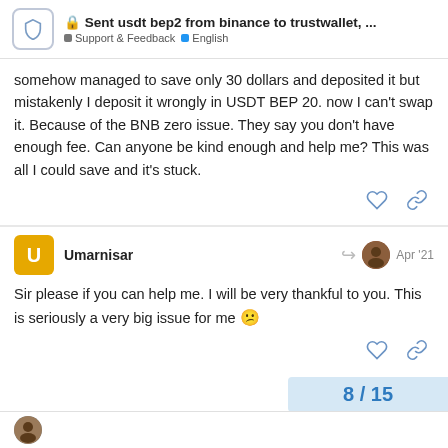Sent usdt bep2 from binance to trustwallet, ... | Support & Feedback | English
somehow managed to save only 30 dollars and deposited it but mistakenly I deposit it wrongly in USDT BEP 20. now I can't swap it. Because of the BNB zero issue. They say you don't have enough fee. Can anyone be kind enough and help me? This was all I could save and it's stuck.
Umarnisar Apr '21
Sir please if you can help me. I will be very thankful to you. This is seriously a very big issue for me 😕
8 / 15